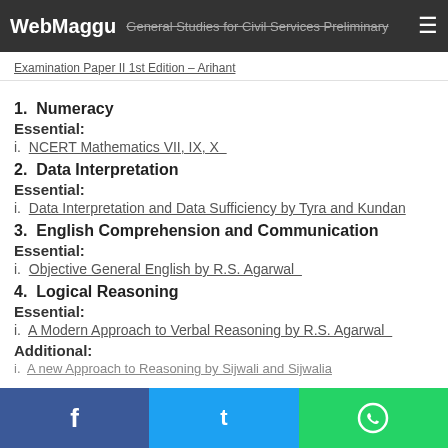WebMaggu — General Studies for Civil Services Preliminary Examination Paper II 1st Edition – Arihant
1. Numeracy
Essential:
i. NCERT Mathematics VII, IX, X
2. Data Interpretation
Essential:
i. Data Interpretation and Data Sufficiency by Tyra and Kundan
3. English Comprehension and Communication
Essential:
i. Objective General English by R.S. Agarwal
4. Logical Reasoning
Essential:
i. A Modern Approach to Verbal Reasoning by R.S. Agarwal
Additional:
i. A new Approach to Reasoning by Sijwali and Sijwalia (truncated)
Facebook | Twitter | WhatsApp